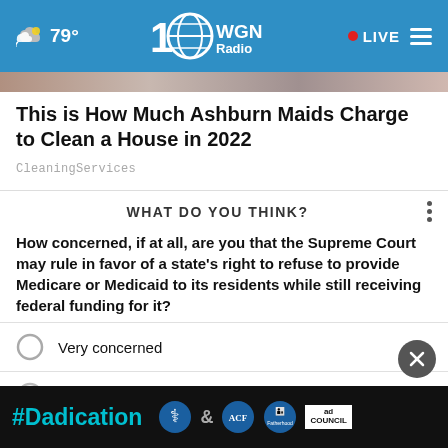79° WGN Radio LIVE
This is How Much Ashburn Maids Charge to Clean a House in 2022
CleaningServices
WHAT DO YOU THINK?
How concerned, if at all, are you that the Supreme Court may rule in favor of a state's right to refuse to provide Medicare or Medicaid to its residents while still receiving federal funding for it?
Very concerned
Somewhat concerned
Not concerned (partially visible)
Other / No opinion
[Figure (screenshot): Ad banner: #Dadication with ACF and Ad Council logos]